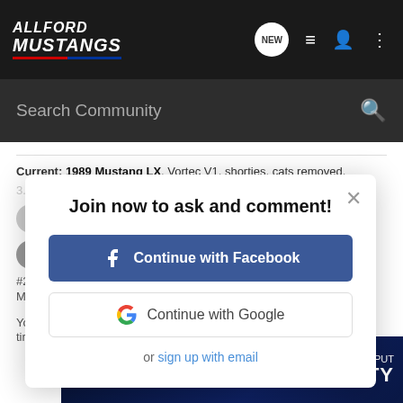[Figure (screenshot): AllFord Mustangs website navigation bar with logo, NEW chat icon, list icon, user icon, and more icon]
Search Community
Current: 1989 Mustang LX. Vortec V1, shorties, cats removed, 3.7...
Join now to ask and comment!
Continue with Facebook
Continue with Google
or sign up with email
#2
M
You're n... tiresome... ain
[Figure (screenshot): Optima brand advertisement banner with WE PUT QUALITY text on dark blue background]